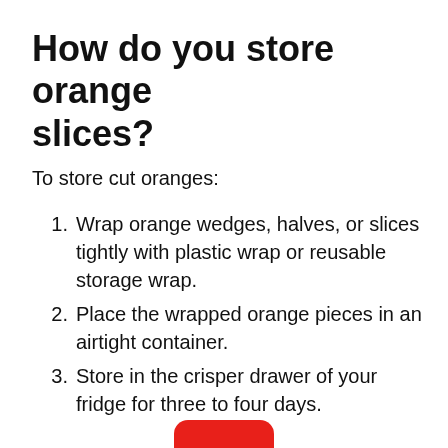How do you store orange slices?
To store cut oranges:
Wrap orange wedges, halves, or slices tightly with plastic wrap or reusable storage wrap.
Place the wrapped orange pieces in an airtight container.
Store in the crisper drawer of your fridge for three to four days.